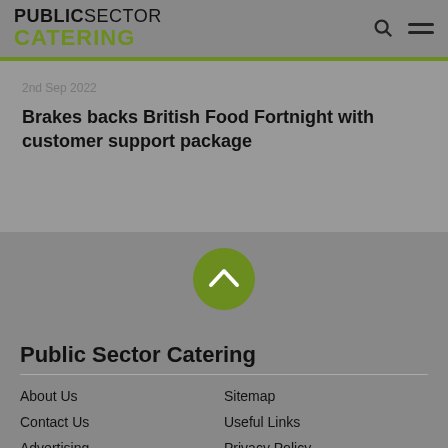PUBLIC SECTOR CATERING
2nd Sep 2022
Brakes backs British Food Fortnight with customer support package
[Figure (other): Circular green button with upward chevron arrow for scrolling to top of page]
Public Sector Catering
About Us
Sitemap
Contact Us
Useful Links
Advertising
Privacy Policy
Editorial Schedule
Terms & Conditions